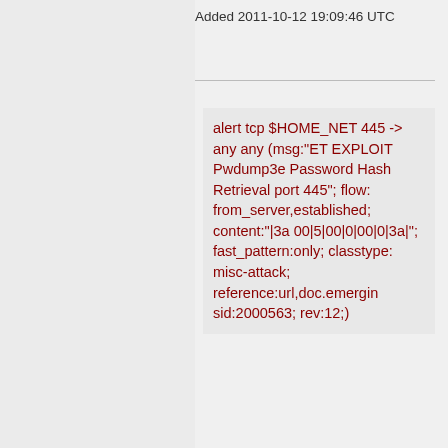Added 2011-10-12 19:09:46 UTC
alert tcp $HOME_NET 445 -> any any (msg:"ET EXPLOIT Pwdump3e Password Hash Retrieval port 445"; flow: from_server,established; content:"|3a 00|5|00|0|00|0|3a|"; fast_pattern:only; classtype: misc-attack; reference:url,doc.emergin sid:2000563; rev:12;)